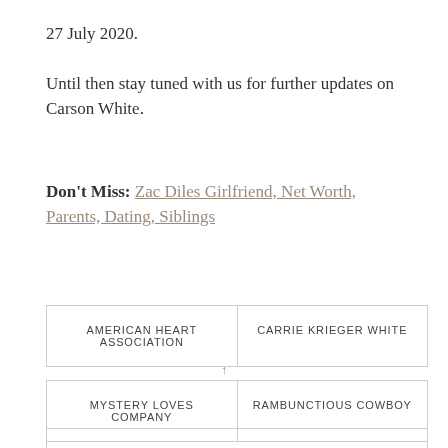27 July 2020.
Until then stay tuned with us for further updates on Carson White.
Don't Miss: Zac Diles Girlfriend, Net Worth, Parents, Dating, Siblings
AMERICAN HEART ASSOCIATION | CARRIE KRIEGER WHITE
MYSTERY LOVES COMPANY | RAMBUNCTIOUS COWBOY
(partial row cut off)